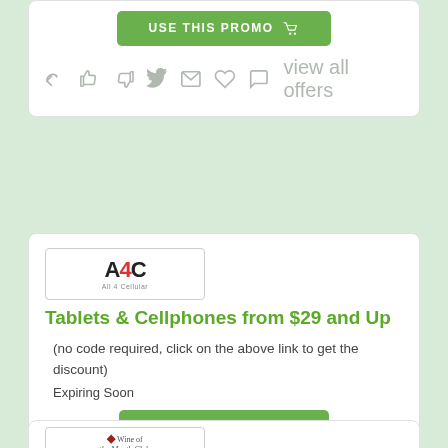[Figure (screenshot): Top card partial view with USE THIS PROMO button and social icons row with view all offers text]
[Figure (logo): A4C logo with colorful subtitle text in a bordered rectangle]
Tablets & Cellphones from $29 and Up
(no code required, click on the above link to get the discount)
Expiring Soon
[Figure (screenshot): USE THIS PROMO button with shopping cart icon]
view all offers
[Figure (logo): Wine of the Month Club logo in a bordered rectangle]